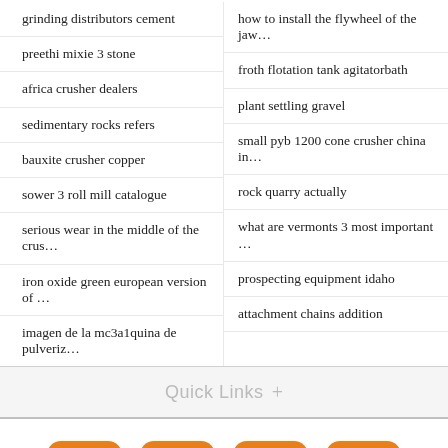grinding distributors cement
how to install the flywheel of the jaw…
preethi mixie 3 stone
froth flotation tank agitatorbath
africa crusher dealers
plant settling gravel
sedimentary rocks refers
small pyb 1200 cone crusher china in…
bauxite crusher copper
rock quarry actually
sower 3 roll mill catalogue
what are vermonts 3 most important …
serious wear in the middle of the crus…
prospecting equipment idaho
iron oxide green european version of …
attachment chains addition
imagen de la mc3a1quina de pulveriz…
Quick Links +
[Figure (logo): Four social media icons in orange rounded squares: Facebook, Twitter, LinkedIn, YouTube]
Free Consult or Leave Message